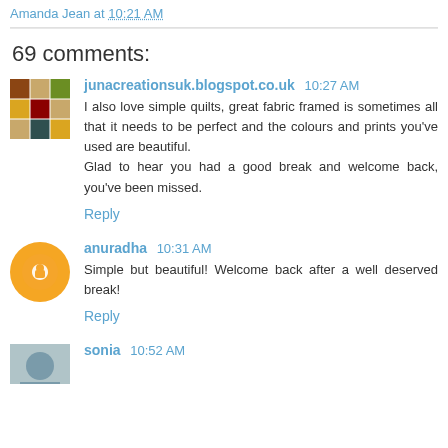Amanda Jean at 10:21 AM
69 comments:
junacreationsuk.blogspot.co.uk  10:27 AM
I also love simple quilts, great fabric framed is sometimes all that it needs to be perfect and the colours and prints you've used are beautiful.
Glad to hear you had a good break and welcome back, you've been missed.
Reply
anuradha  10:31 AM
Simple but beautiful! Welcome back after a well deserved break!
Reply
sonia  10:52 AM